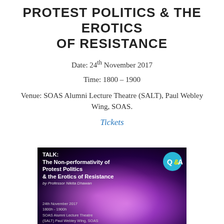PROTEST POLITICS & THE EROTICS OF RESISTANCE
Date: 24th November 2017
Time: 1800 – 1900
Venue: SOAS Alumni Lecture Theatre (SALT), Paul Webley Wing, SOAS.
Tickets
[Figure (photo): Event promotional image on dark background showing a night crowd with colourful lights. Text overlay reads: TALK: The Non-performativity of Protest Politics & the Erotics of Resistance by Professor Nikita Dhawan. Date/time/venue: 24th November 2017, 1800h - 1900h, SOAS Alumni Lecture Theatre (SALT) Paul Webley Wing, SOAS. QA logo badge top right.]